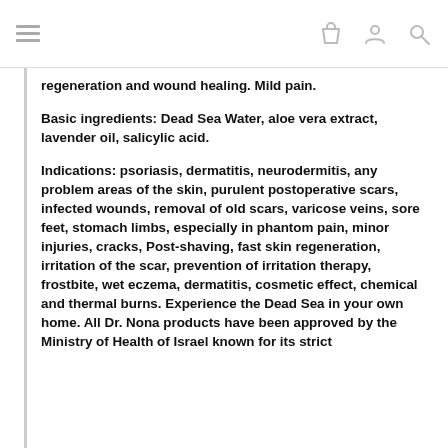≡  [shopping bag icon] [user icon] [search icon]
regeneration and wound healing. Mild pain.
Basic ingredients: Dead Sea Water, aloe vera extract, lavender oil, salicylic acid.
Indications: psoriasis, dermatitis, neurodermitis, any problem areas of the skin, purulent postoperative scars, infected wounds, removal of old scars, varicose veins, sore feet, stomach limbs, especially in phantom pain, minor injuries, cracks, Post-shaving, fast skin regeneration, irritation of the scar, prevention of irritation therapy, frostbite, wet eczema, dermatitis, cosmetic effect, chemical and thermal burns. Experience the Dead Sea in your own home. All Dr. Nona products have been approved by the Ministry of Health of Israel known for its strict